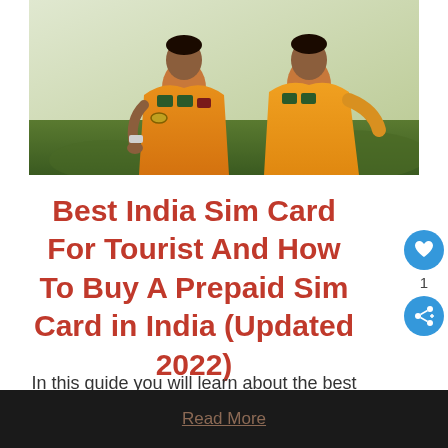[Figure (photo): Two women in traditional Indian orange/yellow embroidered clothing with jewelry, sitting outdoors on grass]
Best India Sim Card For Tourist And How To Buy A Prepaid Sim Card in India (Updated 2022)
In this guide you will learn about the best India sim card for tourist and ho…
Read More